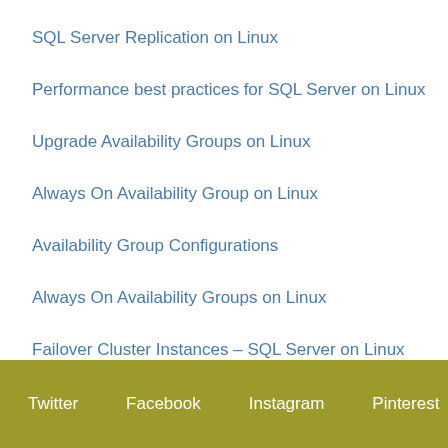SQL Server Replication on Linux
Performance best practices for SQL Server on Linux
Upgrade Availability Groups on Linux
Always On Availability Group on Linux
Availability Group Configurations
Always On Availability Groups on Linux
Failover Cluster Instances – SQL Server on Linux
Twitter   Facebook   Instagram   Pinterest   RSS